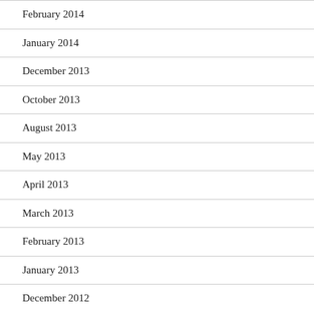February 2014
January 2014
December 2013
October 2013
August 2013
May 2013
April 2013
March 2013
February 2013
January 2013
December 2012